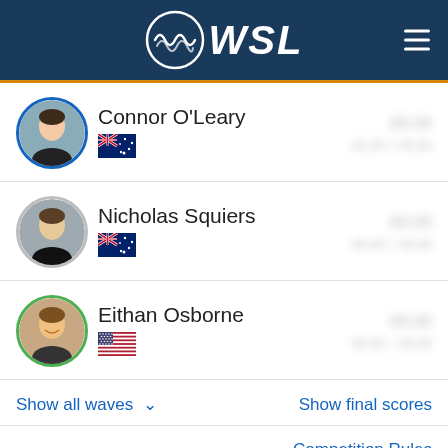WSL
Connor O'Leary — Australia — [scores hidden]
Nicholas Squiers — Australia — [scores hidden]
Eithan Osborne — USA — [scores hidden]
Show all waves
Show final scores
Competition Rules